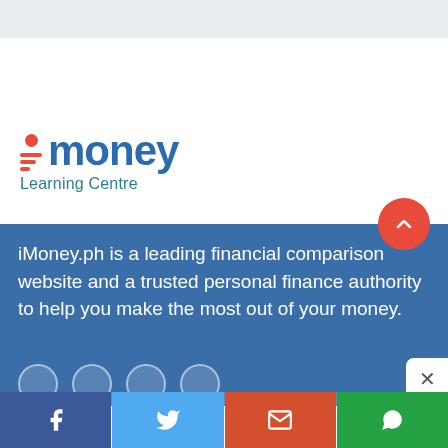[Figure (logo): iMoney Learning Centre logo with red dot above the 'i', stacked red lines, and teal 'Learning Centre' text]
iMoney.ph is a leading financial comparison website and a trusted personal finance authority to help you make the most out of your money.
[Figure (screenshot): Advertisement banner for Crossbody iPhone 13 Case]
[Figure (infographic): Social share bar with Facebook, Twitter, Email, and WhatsApp buttons]